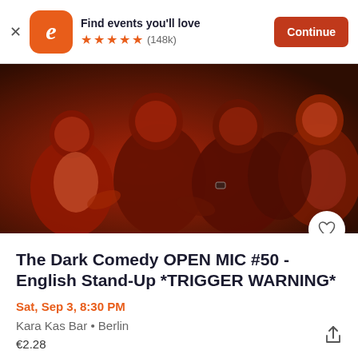[Figure (screenshot): Eventbrite app banner with logo, 'Find events you'll love', 5 stars rating (148k), and Continue button]
[Figure (photo): Red-tinted photo of audience members at a comedy show, laughing and engaged]
The Dark Comedy OPEN MIC #50 - English Stand-Up *TRIGGER WARNING*
Sat, Sep 3, 8:30 PM
Kara Kas Bar • Berlin
€2.28